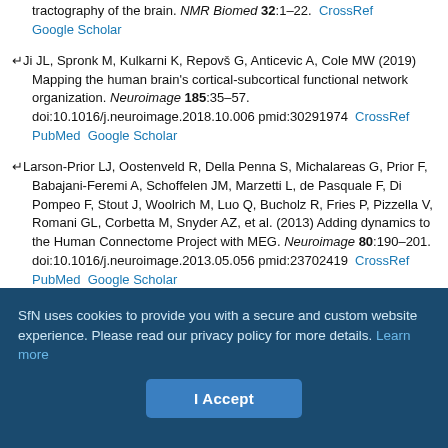[partial ref] tractography of the brain. NMR Biomed 32:1–22. CrossRef Google Scholar
Ji JL, Spronk M, Kulkarni K, Repovš G, Anticevic A, Cole MW (2019) Mapping the human brain's cortical-subcortical functional network organization. Neuroimage 185:35–57. doi:10.1016/j.neuroimage.2018.10.006 pmid:30291974 CrossRef PubMed Google Scholar
Larson-Prior LJ, Oostenveld R, Della Penna S, Michalareas G, Prior F, Babajani-Feremi A, Schoffelen JM, Marzetti L, de Pasquale F, Di Pompeo F, Stout J, Woolrich M, Luo Q, Bucholz R, Fries P, Pizzella V, Romani GL, Corbetta M, Snyder AZ, et al. (2013) Adding dynamics to the Human Connectome Project with MEG. Neuroimage 80:190–201. doi:10.1016/j.neuroimage.2013.05.056 pmid:23702419 CrossRef PubMed Google Scholar
SfN uses cookies to provide you with a secure and custom website experience. Please read our privacy policy for more details. Learn more